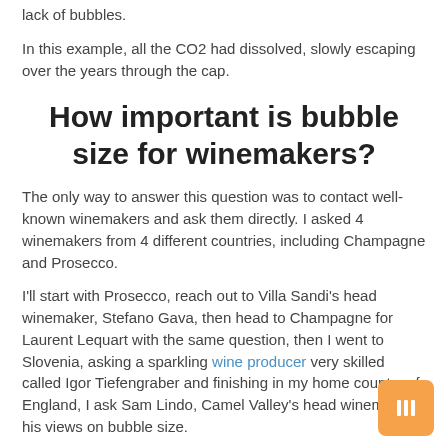lack of bubbles.
In this example, all the CO2 had dissolved, slowly escaping over the years through the cap.
How important is bubble size for winemakers?
The only way to answer this question was to contact well-known winemakers and ask them directly. I asked 4 winemakers from 4 different countries, including Champagne and Prosecco.
I'll start with Prosecco, reach out to Villa Sandi's head winemaker, Stefano Gava, then head to Champagne for Laurent Lequart with the same question, then I went to Slovenia, asking a sparkling wine producer very skilled called Igor Tiefengraber and finishing in my home country of England, I ask Sam Lindo, Camel Valley's head winemaker, his views on bubble size.